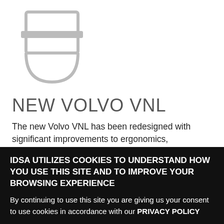[Figure (logo): Volvo logo - shield/crest shape with horizontal bar, light gray outline]
NEW VOLVO VNL
The new Volvo VNL has been redesigned with significant improvements to ergonomics, aerodynamics, fuel efficiency and performance. The selection of VNL sleeper and day cab models covers a wide range of highway applications, all offering unsurpassed drivability, safety and comfort. Inside the new wide sleepers, drivers will find plenty of space to handle day-to-day demands, whether it's catching up on
IDSA UTILIZES COOKIES TO UNDERSTAND HOW YOU USE THIS SITE AND TO IMPROVE YOUR BROWSING EXPERIENCE
By continuing to use this site you are giving us your consent to use cookies in accordance with our PRIVACY POLICY